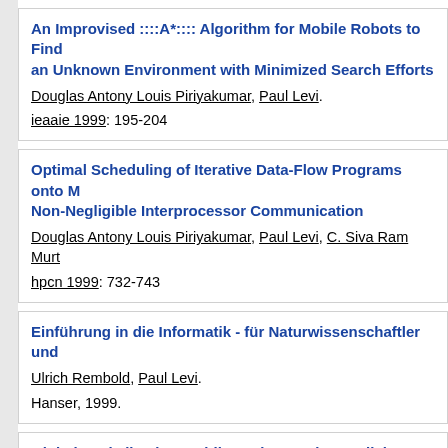An Improvised ::::A*:::: Algorithm for Mobile Robots to Find an Unknown Environment with Minimized Search Efforts
Douglas Antony Louis Piriyakumar, Paul Levi.
ieaaie 1999: 195-204
Optimal Scheduling of Iterative Data-Flow Programs onto M... Non-Negligible Interprocessor Communication
Douglas Antony Louis Piriyakumar, Paul Levi, C. Siva Ram Murt...
hpcn 1999: 732-743
Einführung in die Informatik - für Naturwissenschaftler und...
Ulrich Rembold, Paul Levi.
Hanser, 1999.
Globale Lokalisation mobiler Roboter mit natürlichen Landr... dynamischen Umgebungen
Torsten Rupp, Paul Levi.
ams 2000: 128-137